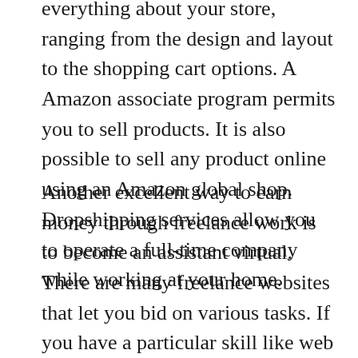everything about your store, ranging from the design and layout to the shopping cart options. A Amazon associate program permits you to sell products. It is also possible to sell any product online using an Amazon global shop. Dropshipping services allow you to operate a full-time company while working at your home.
Another excellent way to earn money through freelance work is to become an assistant virtual. There are many freelance websites that let you bid on various tasks. If you have a particular skill like web design writing, design or other skills, you will be able to find lots of jobs. There are a few disadvantages. There are a few disadvantages to this. You'll often be working for someone else day in and day out and won't receive as much as you'd like and perhaps deserve.